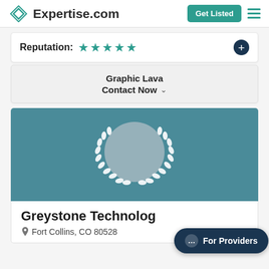Expertise.com  Get Listed
Reputation: ★★★★★
Graphic Lava
Contact Now
[Figure (illustration): Teal background banner with a light gray circle (profile placeholder) centered, surrounded by a white laurel wreath icon]
Greystone Technology
Fort Collins, CO 80528